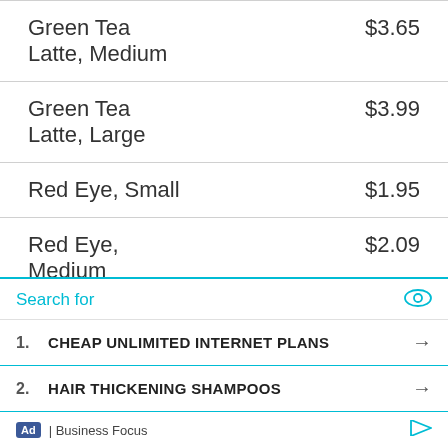| Item | Price |
| --- | --- |
| Green Tea
Latte, Medium | $3.65 |
| Green Tea
Latte, Large | $3.99 |
| Red Eye, Small | $1.95 |
| Red Eye,
Medium | $2.09 |
| Red Eye, Large | $2.39 |
| … | … |
Search for
1. CHEAP UNLIMITED INTERNET PLANS →
2. HAIR THICKENING SHAMPOOS →
Ad | Business Focus